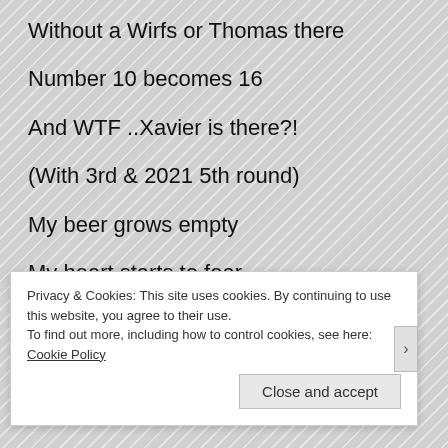Without a Wirfs or Thomas there
Number 10 becomes 16
And WTF ..Xavier is there?!
(With 3rd & 2021 5th round)
My beer grows empty
My heart starts to fear
Night gets darker waiting to hear
Privacy & Cookies: This site uses cookies. By continuing to use this website, you agree to their use. To find out more, including how to control cookies, see here: Cookie Policy
Close and accept